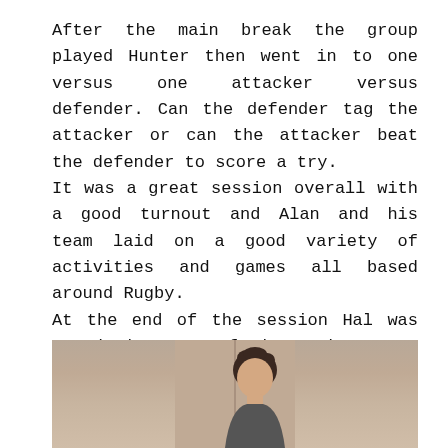After the main break the group played Hunter then went in to one versus one attacker versus defender. Can the defender tag the attacker or can the attacker beat the defender to score a try.
It was a great session overall with a good turnout and Alan and his team laid on a good variety of activities and games all based around Rugby.
At the end of the session Hal was voted the Star of the Week - very well done Hal.

Join Alan, Ollie and Ray again next Saturday to see what they have in store.
[Figure (photo): Photo showing a person, partially visible, against a light beige/tan background wall.]